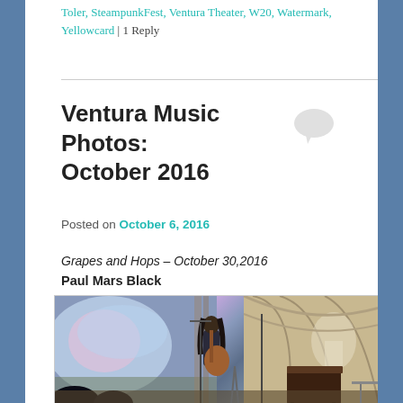Toler, SteampunkFest, Ventura Theater, W20, Watermark, Yellowcard | 1 Reply
Ventura Music Photos: October 2016
Posted on October 6, 2016
Grapes and Hops – October 30, 2016
Paul Mars Black
[Figure (photo): A musician with long dark hair playing acoustic guitar and singing into a microphone on stage at Grapes and Hops venue, with a colorful projected screen behind them on the left and an arched stone corridor mural on the right wall, a piano visible to the right, and audience members in silhouette in the foreground.]